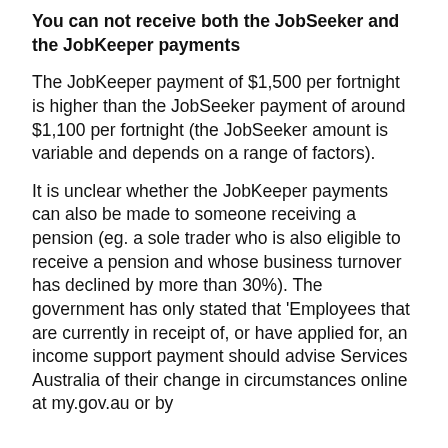You can not receive both the JobSeeker and the JobKeeper payments
The JobKeeper payment of $1,500 per fortnight is higher than the JobSeeker payment of around $1,100 per fortnight (the JobSeeker amount is variable and depends on a range of factors).
It is unclear whether the JobKeeper payments can also be made to someone receiving a pension (eg. a sole trader who is also eligible to receive a pension and whose business turnover has declined by more than 30%). The government has only stated that 'Employees that are currently in receipt of, or have applied for, an income support payment should advise Services Australia of their change in circumstances online at my.gov.au or by